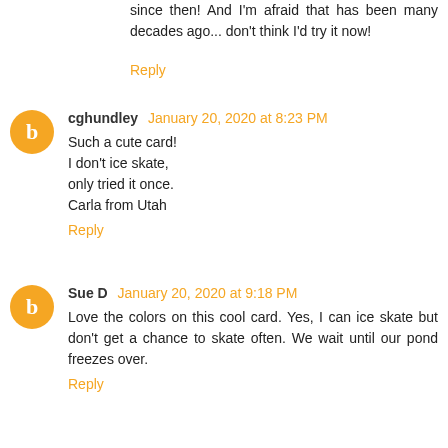since then! And I'm afraid that has been many decades ago... don't think I'd try it now!
Reply
cghundley January 20, 2020 at 8:23 PM
Such a cute card!
I don't ice skate,
only tried it once.
Carla from Utah
Reply
Sue D January 20, 2020 at 9:18 PM
Love the colors on this cool card. Yes, I can ice skate but don't get a chance to skate often. We wait until our pond freezes over.
Reply